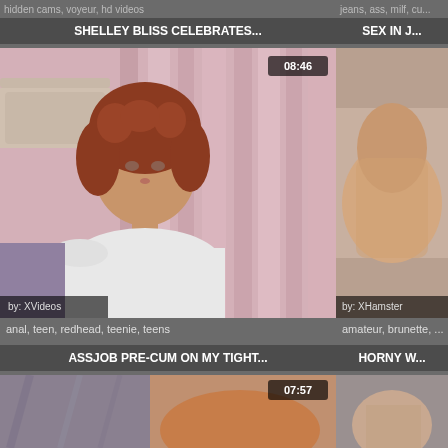hidden cams, voyeur, hd videos
jeans, ass, milf, cu...
SHELLEY BLISS CELEBRATES...
SEX IN J...
[Figure (photo): Video thumbnail showing a redhead woman in white top, pink curtain background, duration 08:46, by XVideos]
[Figure (photo): Video thumbnail showing partial body shot, by XHamster]
anal, teen, redhead, teenie, teens
amateur, brunette, ...
ASSJOB PRE-CUM ON MY TIGHT...
HORNY W...
[Figure (photo): Video thumbnail showing jeans close-up from behind, duration 07:57]
[Figure (photo): Video thumbnail, partial view]